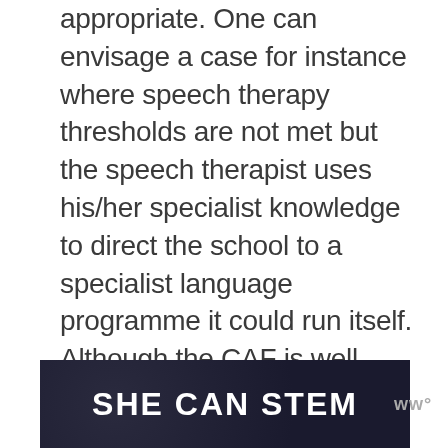appropriate. One can envisage a case for instance where speech therapy thresholds are not met but the speech therapist uses his/her specialist knowledge to direct the school to a specialist language programme it could run itself. Although the CAF is well under way, LAs are still adapting existing practice and adopting new frameworks and much of this is being driven by the actual CAF training. In many cases CAF training is being delivered to groups of people drawn from different
[Figure (other): SHE CAN STEM banner advertisement with white bold text on dark navy background, with a small logo/watermark in the bottom right corner]